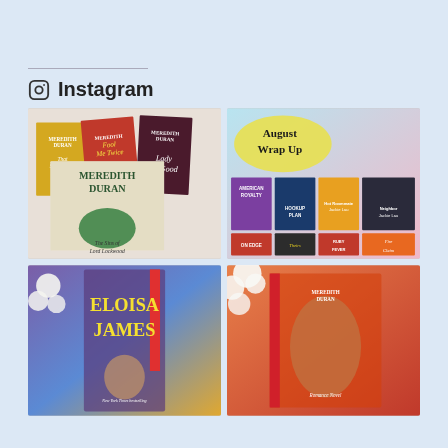Instagram
[Figure (photo): Four Meredith Duran romance novel covers fanned out on a white fur surface: That Scandalous Summer, Fool Me Twice, Lady Be Good, and The Sins of Lord Lockwood]
[Figure (photo): August Wrap Up collage of eight romance book covers: American Royalty, Hookup Plan, Hot Roommate, Oh Neighbor, On Edge, Theirs to Keep, Ruby Fever, Fire Claim]
[Figure (photo): Eloisa James novel spine with large gold lettering on purple/blue background with white flowers]
[Figure (photo): Meredith Duran romance novel with couple embracing on sunset background, surrounded by white flowers]